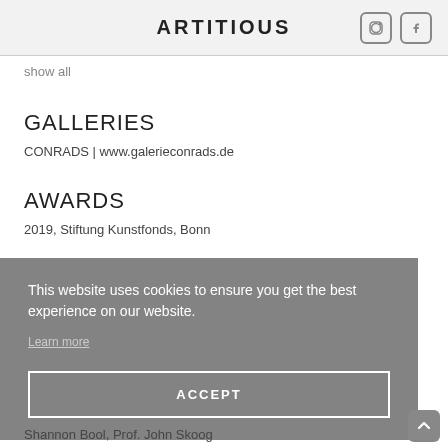ARTITIOUS
show all
GALLERIES
CONRADS | www.galerieconrads.de
AWARDS
2019, Stiftung Kunstfonds, Bonn
This website uses cookies to ensure you get the best experience on our website.
Learn more
ACCEPT
Shannon Bool, Prof. John Skoog